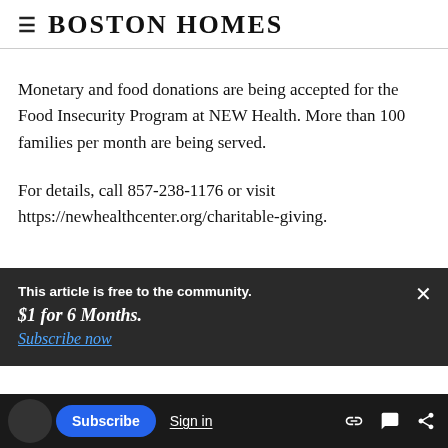Boston Homes
Monetary and food donations are being accepted for the Food Insecurity Program at NEW Health. More than 100 families per month are being served.
For details, call 857-238-1176 or visit https://newhealthcenter.org/charitable-giving.
This article is free to the community.
$1 for 6 Months.
Subscribe now
nations to support the Disaster Relief Fund.